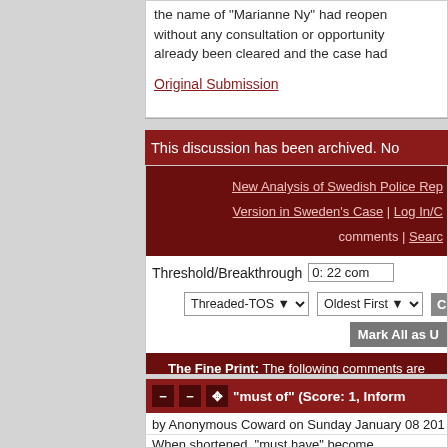the name of "Marianne Ny" had reopen... without any consultation or opportunity... already been cleared and the case had...
Original Submission
This discussion has been archived. No...
New Analysis of Swedish Police Rep... Version in Sweden's Case | Log In/C... comments | Search...
Threshold/Breakthrough  0: 22 com...
Threaded-TOS  Oldest First  Ch...
Mark All as U...
The Fine Print: The following comments are... are not responsible for t...
"must of" (Score: 1, Inform...
by Anonymous Coward on Sunday January 08 201...
When shortened, "must have" become...